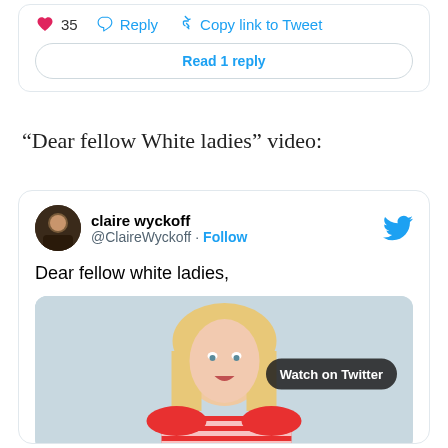[Figure (screenshot): Twitter/X tweet action bar showing heart icon with 35 likes, Reply button, and Copy link to Tweet button, plus a 'Read 1 reply' button below]
“Dear fellow White ladies” video:
[Figure (screenshot): Embedded tweet from claire wyckoff (@ClaireWyckoff) with Follow button and Twitter bird logo. Tweet text reads 'Dear fellow white ladies,' with a video thumbnail showing a blonde woman with a 'Watch on Twitter' button overlay]